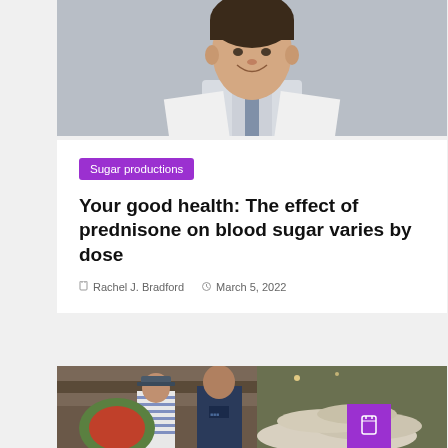[Figure (photo): A smiling man in a white doctor's coat against a grey background, upper body and face visible from chin down, partial view cropped at top]
Sugar productions
Your good health: The effect of prednisone on blood sugar varies by dose
Rachel J. Bradford   March 5, 2022
[Figure (photo): Two men standing in front of stacked white sacks in what appears to be an industrial or warehouse setting]